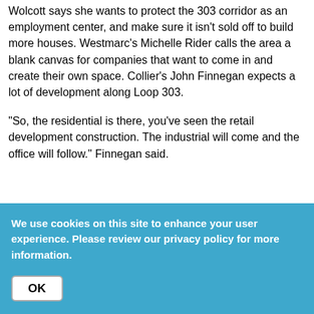Wolcott says she wants to protect the 303 corridor as an employment center, and make sure it isn't sold off to build more houses. Westmarc's Michelle Rider calls the area a blank canvas for companies that want to come in and create their own space. Collier's John Finnegan expects a lot of development along Loop 303.

"So, the residential is there, you've seen the retail development construction. The industrial will come and the office will follow." Finnegan said.
We use cookies on this site to enhance your user experience. Please review our privacy policy for more information.